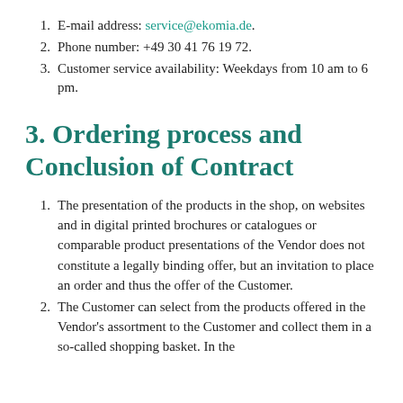E-mail address: service@ekomia.de.
Phone number: +49 30 41 76 19 72.
Customer service availability: Weekdays from 10 am to 6 pm.
3. Ordering process and Conclusion of Contract
The presentation of the products in the shop, on websites and in digital printed brochures or catalogues or comparable product presentations of the Vendor does not constitute a legally binding offer, but an invitation to place an order and thus the offer of the Customer.
The Customer can select from the products offered in the Vendor's assortment to the Customer and collect them in a so-called shopping basket. In the